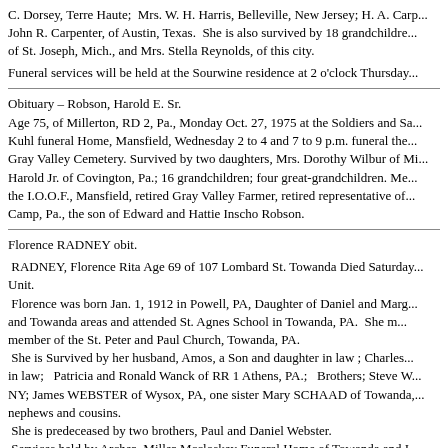C. Dorsey, Terre Haute;  Mrs. W. H. Harris, Belleville, New Jersey; H. A. Carp... John R. Carpenter, of Austin, Texas.  She is also survived by 18 grandchildre... of St. Joseph, Mich., and Mrs. Stella Reynolds, of this city.
Funeral services will be held at the Sourwine residence at 2 o'clock Thursday...
Obituary – Robson, Harold E. Sr.
Age 75, of Millerton, RD 2, Pa., Monday Oct. 27, 1975 at the Soldiers and Sa... Kuhl funeral Home, Mansfield, Wednesday 2 to 4 and 7 to 9 p.m. funeral the... Gray Valley Cemetery. Survived by two daughters, Mrs. Dorothy Wilbur of Mi... Harold Jr. of Covington, Pa.; 16 grandchildren; four great-grandchildren. Me... the I.O.O.F., Mansfield, retired Gray Valley Farmer, retired representative of... Camp, Pa., the son of Edward and Hattie Inscho Robson.
Florence RADNEY obit.
RADNEY, Florence Rita Age 69 of 107 Lombard St. Towanda Died Saturday... Unit.
 Florence was born Jan. 1, 1912 in Powell, PA, Daughter of Daniel and Marg... and Towanda areas and attended St. Agnes School in Towanda, PA.  She m... member of the St. Peter and Paul Church, Towanda, PA.
 She is Survived by her husband, Amos, a Son and daughter in law ; Charles... in law;   Patricia and Ronald Wanck of RR 1 Athens, PA.;   Brothers; Steve W... NY; James WEBSTER of Wysox, PA, one sister Mary SCHAAD of Towanda,... nephews and cousins.
 She is predeceased by two brothers, Paul and Daniel Webster.
 Services held by Archer -Miller-Mccloskey Funeral Home of Towanda and I...
Joseph MCKERNAN Obit.